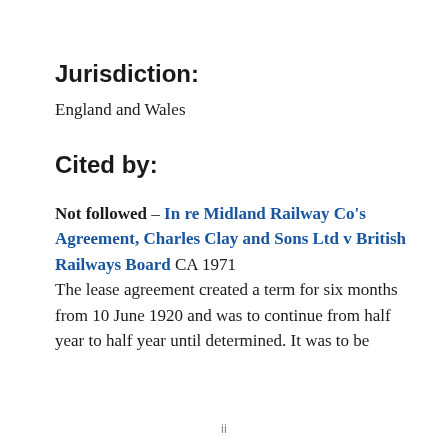Jurisdiction:
England and Wales
Cited by:
Not followed – In re Midland Railway Co's Agreement, Charles Clay and Sons Ltd v British Railways Board CA 1971
The lease agreement created a term for six months from 10 June 1920 and was to continue from half year to half year until determined. It was to be
ii